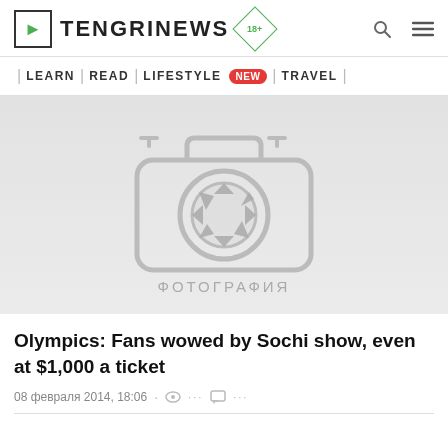TENGRINEWS 18+
| LEARN | READ | LIFESTYLE NEW | TRAVEL |
[Figure (photo): Image placeholder with camera icon and text ФОТОГРАФИЯ on grey background]
Olympics: Fans wowed by Sochi show, even at $1,000 a ticket
08 февраля 2014, 18:06 · ···  ···